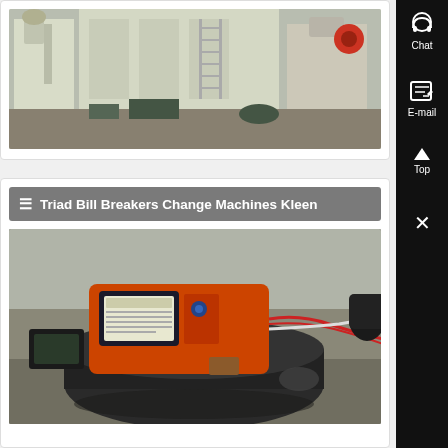[Figure (photo): Industrial facility interior showing large white industrial machines/equipment in a warehouse]
[Figure (photo): Orange industrial machine/equipment (likely a bill breaker or change machine) being serviced outdoors, with wires and tools visible]
Triad Bill Breakers Change Machines Kleen